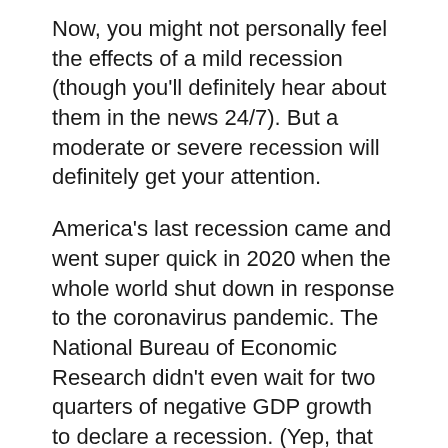Now, you might not personally feel the effects of a mild recession (though you'll definitely hear about them in the news 24/7). But a moderate or severe recession will definitely get your attention.
America’s last recession came and went super quick in 2020 when the whole world shut down in response to the coronavirus pandemic. The National Bureau of Economic Research didn’t even wait for two quarters of negative GDP growth to declare a recession. (Yep, that bureau is responsible for telling us when we’re in a recession.)
So, are we going to have a recession?
Absolutely.